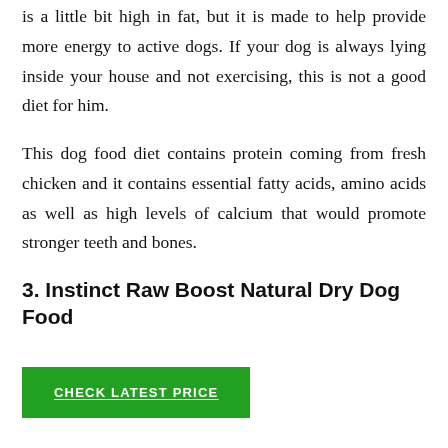is a little bit high in fat, but it is made to help provide more energy to active dogs. If your dog is always lying inside your house and not exercising, this is not a good diet for him.
This dog food diet contains protein coming from fresh chicken and it contains essential fatty acids, amino acids as well as high levels of calcium that would promote stronger teeth and bones.
3. Instinct Raw Boost Natural Dry Dog Food
[Figure (other): Green button labeled CHECK LATEST PRICE]
The Instinct Raw Boost Natural Dry Dog Food is a top choice for dog owners and a lot of dogs love its taste.